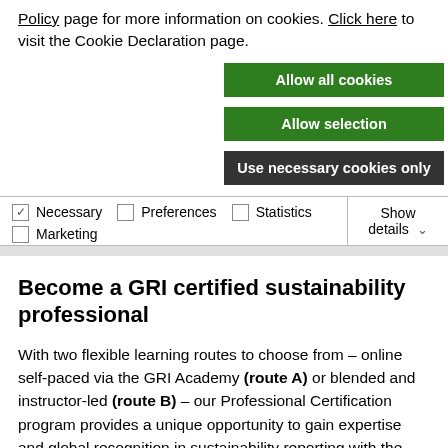Policy page for more information on cookies. Click here to visit the Cookie Declaration page.
Allow all cookies
Allow selection
Use necessary cookies only
| ☑ Necessary | ☐ Preferences | ☐ Statistics | Show details ∨ |
| ☐ Marketing |  |  |  |
Become a GRI certified sustainability professional
With two flexible learning routes to choose from – online self-paced via the GRI Academy (route A) or blended and instructor-led (route B) – our Professional Certification program provides a unique opportunity to gain expertise and global recognition in sustainability reporting with the